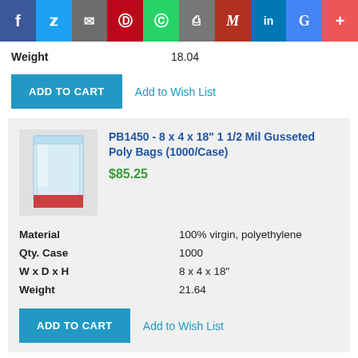[Figure (screenshot): Social media share bar with icons: Facebook, Twitter, Email, Pinterest, WhatsApp, Print, Gmail, LinkedIn, Google, Plus]
| Field | Value |
| --- | --- |
| Weight | 18.04 |
ADD TO CART  Add to Wish List
[Figure (photo): Clear gusseted poly bag product image]
PB1450 - 8 x 4 x 18" 1 1/2 Mil Gusseted Poly Bags (1000/Case)
$85.25
| Field | Value |
| --- | --- |
| Material | 100% virgin, polyethylene |
| Qty. Case | 1000 |
| W x D x H | 8 x 4 x 18" |
| Weight | 21.64 |
ADD TO CART  Add to Wish List